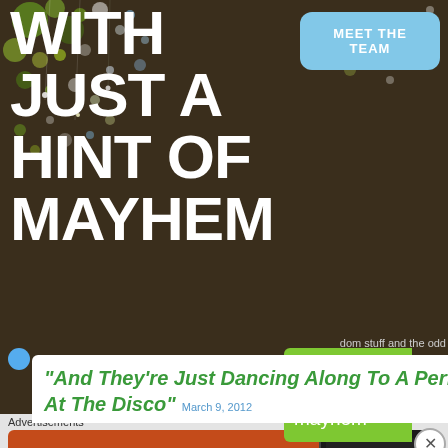[Figure (photo): Dark brownish background with bokeh/floral decorative overlay (white and green scattered flowers/lights)]
WITH JUST A HINT OF MAYHEM
MEET THE TEAM
dom stuff and the odd
follow with just a hint of mayhem
“And They’re Just Dancing Along To A Perfect Song At The Disco” March 9, 2012
Advertisements
[Figure (screenshot): DuckDuckGo advertisement banner: orange background with text 'Search, browse, and email with more privacy. All in One Free App' and a smartphone showing DuckDuckGo app with its logo]